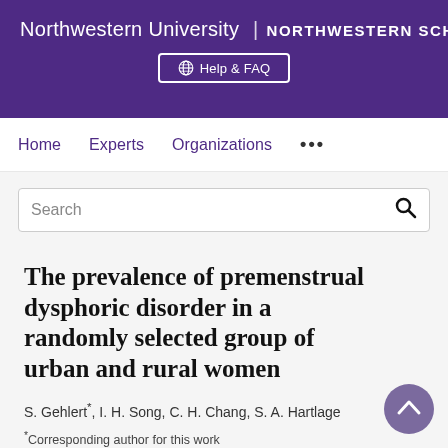Northwestern University | NORTHWESTERN SCHOLARS
Help & FAQ
Home   Experts   Organizations   ...
Search
The prevalence of premenstrual dysphoric disorder in a randomly selected group of urban and rural women
S. Gehlert*, I. H. Song, C. H. Chang, S. A. Hartlage
*Corresponding author for this work